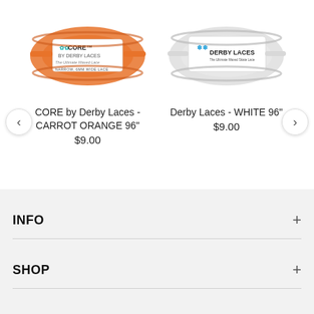[Figure (photo): Orange CORE by Derby Laces coiled lace with label showing 'CORE BY DERBY LACES - The Ultimate Waxed Lace' and 'NARROW, 6MM WIDE LACE']
CORE by Derby Laces -
CARROT ORANGE 96"
$9.00
[Figure (photo): White Derby Laces coiled lace with label showing 'DERBY LACES - The Ultimate Waxed Skate Lace']
Derby Laces - WHITE 96"
$9.00
INFO
SHOP